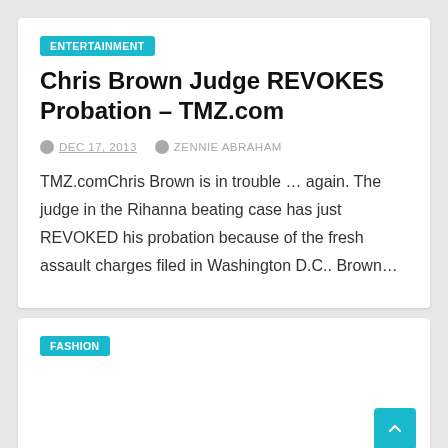ENTERTAINMENT
Chris Brown Judge REVOKES Probation – TMZ.com
DEC 17, 2013   ZENNIE ABRAHAM
TMZ.comChris Brown is in trouble … again. The judge in the Rihanna beating case has just REVOKED his probation because of the fresh assault charges filed in Washington D.C.. Brown…
FASHION